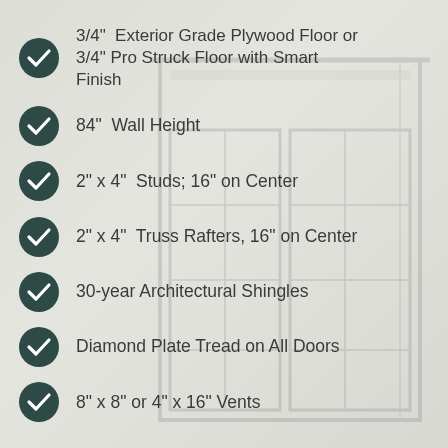3/4"  Exterior Grade Plywood Floor or 3/4" Pro Struck Floor with Smart Finish
84"  Wall Height
2" x 4"  Studs; 16" on Center
2" x 4"  Truss Rafters, 16" on Center
30-year Architectural Shingles
Diamond Plate Tread on All Doors
8" x 8" or 4" x 16" Vents